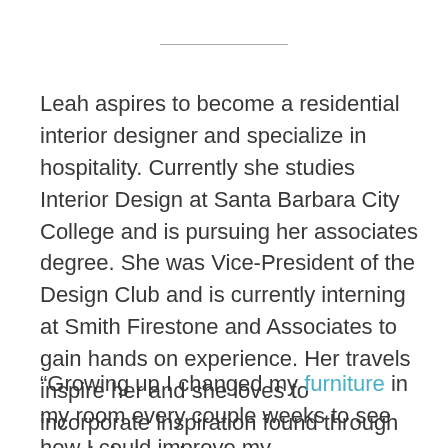Leah aspires to become a residential interior designer and specialize in hospitality. Currently she studies Interior Design at Santa Barbara City College and is pursuing her associates degree. She was Vice-President of the Design Club and is currently interning at Smith Firestone and Associates to gain hands on experience. Her travels inspire her and she loves to incorporate inspiration found through travels in her designs.
“Growing up I changed my furniture in my room every couple weeks to see how I could improve my